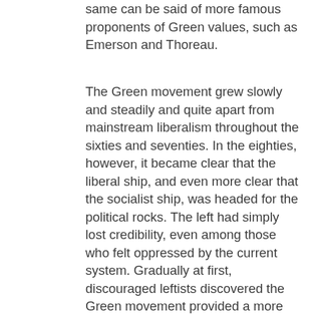same can be said of more famous proponents of Green values, such as Emerson and Thoreau.
The Green movement grew slowly and steadily and quite apart from mainstream liberalism throughout the sixties and seventies. In the eighties, however, it became clear that the liberal ship, and even more clear that the socialist ship, was headed for the political rocks. The left had simply lost credibility, even among those who felt oppressed by the current system. Gradually at first, discouraged leftists discovered the Green movement provided a more credible platform their positions.
Because of their excellent communications network, additional members of the left quickly discovered the Greens, embraced their values (at least superficially), joined their ranks and proceeded to drastically alter the Green agenda. For example, early Greens pushed for keeping economies more diverse and decentralized by